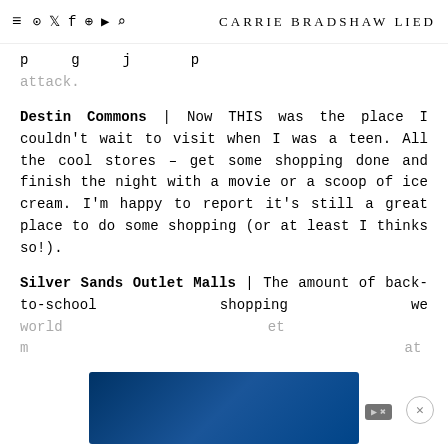≡ [instagram] [twitter] [facebook] [pinterest] [youtube] [search]  CARRIE BRADSHAW LIED
attack.
Destin Commons | Now THIS was the place I couldn't wait to visit when I was a teen. All the cool stores – get some shopping done and finish the night with a movie or a scoop of ice cream. I'm happy to report it's still a great place to do some shopping (or at least I thinks so!).
Silver Sands Outlet Malls | The amount of back-to-school shopping we would... market... at